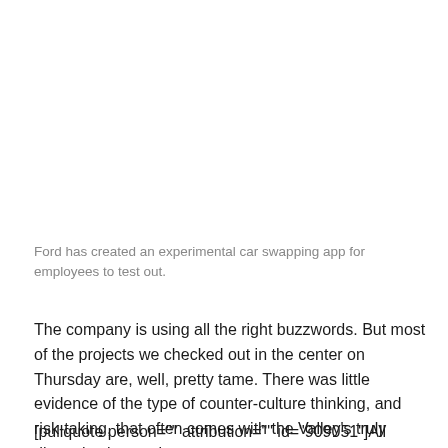Ford has created an experimental car swapping app for employees to test out.
The company is using all the right buzzwords. But most of the projects we checked out in the center on Thursday are, well, pretty tame. There was little evidence of the type of counter-culture thinking, and risk-taking, that often comes with the Valley's truly disruptive innovations.
[pullquote person="" attribution="" id="909051"]All